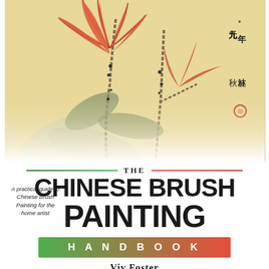[Figure (illustration): Chinese brush painting of red/orange flowers (resembling a tiger lily or similar bloom) with stems, leaves, and Chinese calligraphy characters in upper right corner. Painted on a warm yellow/cream background, with the image fading to white at the bottom.]
THE CHINESE BRUSH PAINTING HANDBOOK
A practical guide to Chinese Brush Painting for the home artist
Viv Foster